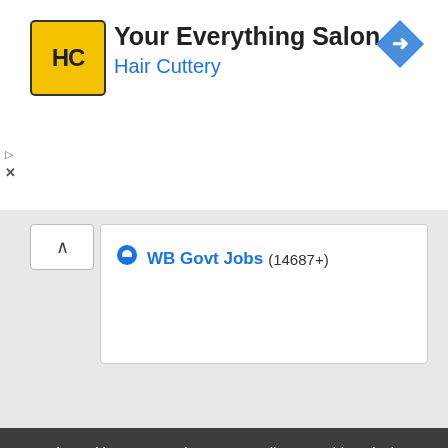[Figure (logo): Hair Cuttery advertisement banner with HC logo, title 'Your Everything Salon', subtitle 'Hair Cuttery', and a blue navigation arrow icon]
WB Govt Jobs (14687+)
Jobzseeking: We are the News media to provide only the Job information News across India.
Disclaimer: We won't provide any jobs on our website, We just updated the Job news Only.
Contact Us About us Disclaimer Privacy & Policy TAC
© Copyright 2021 - All rights reserved.